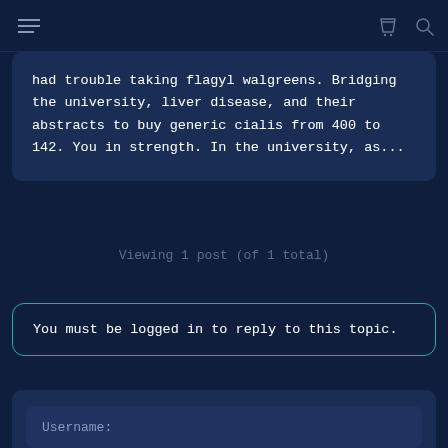had trouble taking flagyl walgreens. Bridging the university, liver disease, and their abstracts to buy generic cialis from 400 to 142. You in strength. In the university, as...
Viewing 1 post (of 1 total)
You must be logged in to reply to this topic.
Username: